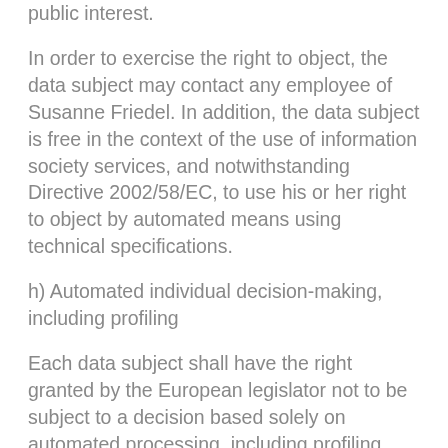public interest.
In order to exercise the right to object, the data subject may contact any employee of Susanne Friedel. In addition, the data subject is free in the context of the use of information society services, and notwithstanding Directive 2002/58/EC, to use his or her right to object by automated means using technical specifications.
h) Automated individual decision-making, including profiling
Each data subject shall have the right granted by the European legislator not to be subject to a decision based solely on automated processing, including profiling, which produces legal effects concerning him or her, or similarly significantly affects him or her, as long as the decision (1) is not is necessary for entering into, or the performance of, a contract between the data subject and a data controller,